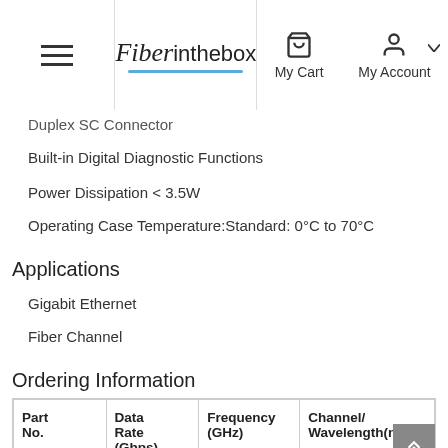Fiber in the box — My Cart  My Account
Duplex SC Connector
Built-in Digital Diagnostic Functions
Power Dissipation < 3.5W
Operating Case Temperature:Standard: 0°C to 70°C
Applications
Gigabit Ethernet
Fiber Channel
Ordering Information
| Part No. | Data Rate (Gbps) | Frequency (GHz) | Channel/ Wavelength(nm) |
| --- | --- | --- | --- |